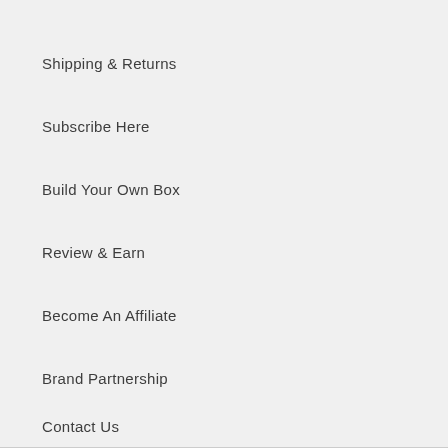Shipping & Returns
Subscribe Here
Build Your Own Box
Review & Earn
Become An Affiliate
Brand Partnership
Contact Us